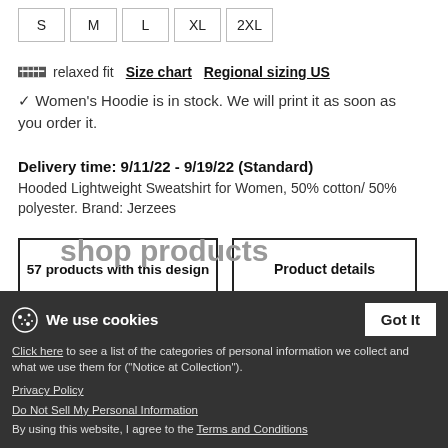S
M
L
XL
2XL
relaxed fit   Size chart   Regional sizing US
✓ Women's Hoodie is in stock. We will print it as soon as you order it.
Delivery time: 9/11/22 - 9/19/22 (Standard)
Hooded Lightweight Sweatshirt for Women, 50% cotton/ 50% polyester. Brand: Jerzees
57 products with this design
Product details
We use cookies
Got It
Click here to see a list of the categories of personal information we collect and what we use them for ("Notice at Collection").
Privacy Policy
Do Not Sell My Personal Information
By using this website, I agree to the Terms and Conditions